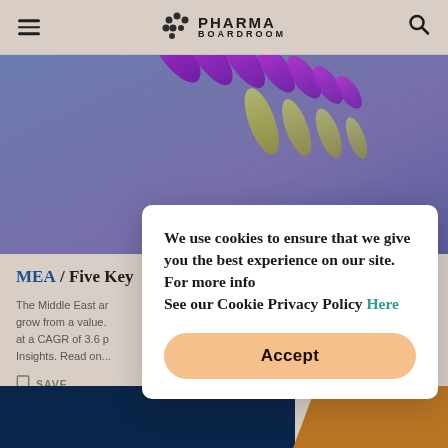PHARMA BOARDROOM
[Figure (photo): Abstract 3D render of purple and yellow pill capsules arranged in a helix/spiral pattern on a blue-purple gradient background]
MEA / Five Key
The Middle East ar... grow from a value... at a CAGR of 3.6 p... Insights. Read on...
We use cookies to ensure that we give you the best experience on our site. For more info See our Cookie Privacy Policy Here
Accept